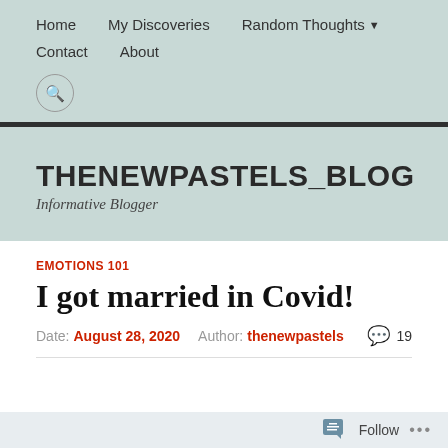Home   My Discoveries   Random Thoughts ▾   Contact   About
THENEWPASTELS_BLOG
Informative Blogger
EMOTIONS 101
I got married in Covid!
Date: August 28, 2020   Author: thenewpastels   💬 19